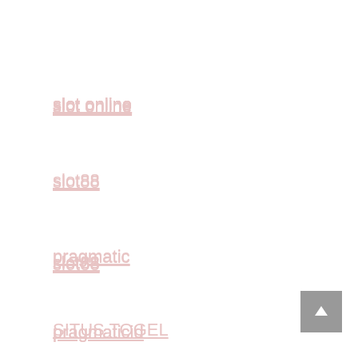slot online
slot88
pragmatic
pragmaticid
SITUS TOGEL